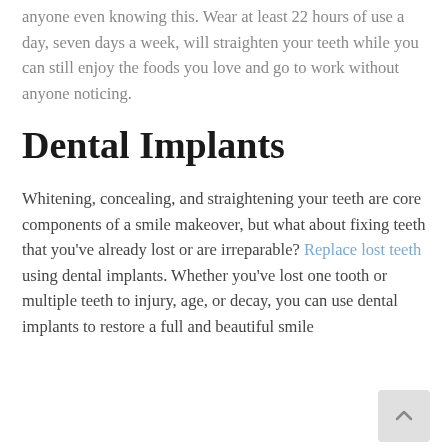anyone even knowing this. Wear at least 22 hours of use a day, seven days a week, will straighten your teeth while you can still enjoy the foods you love and go to work without anyone noticing.
Dental Implants
Whitening, concealing, and straightening your teeth are core components of a smile makeover, but what about fixing teeth that you've already lost or are irreparable? Replace lost teeth using dental implants. Whether you've lost one tooth or multiple teeth to injury, age, or decay, you can use dental implants to restore a full and beautiful smile